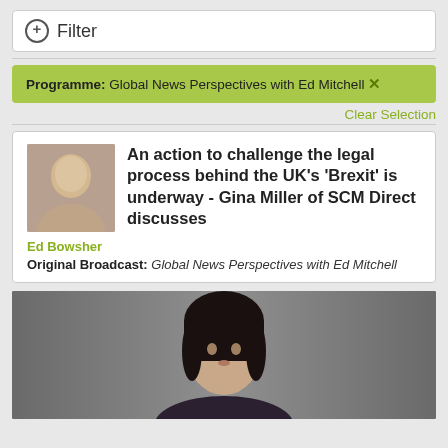Filter
Programme: Global News Perspectives with Ed Mitchell ×
Clear Selection
An action to challenge the legal process behind the UK's 'Brexit' is underway - Gina Miller of SCM Direct discusses
Ed Bowsher
Original Broadcast: Global News Perspectives with Ed Mitchell
[Figure (photo): Portrait photo of a woman with dark hair against a grey background]